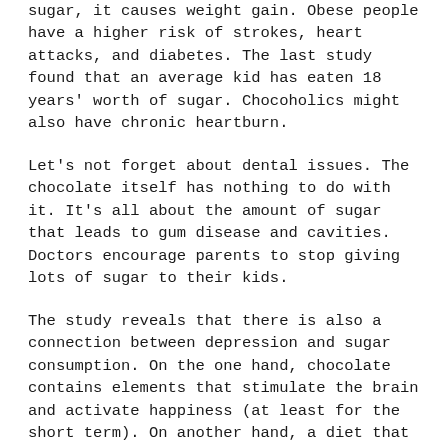sugar, it causes weight gain. Obese people have a higher risk of strokes, heart attacks, and diabetes. The last study found that an average kid has eaten 18 years' worth of sugar. Chocoholics might also have chronic heartburn.
Let's not forget about dental issues. The chocolate itself has nothing to do with it. It's all about the amount of sugar that leads to gum disease and cavities. Doctors encourage parents to stop giving lots of sugar to their kids.
The study reveals that there is also a connection between depression and sugar consumption. On the one hand, chocolate contains elements that stimulate the brain and activate happiness (at least for the short term). On another hand, a diet that includes a lot of sugar can worsen anxiety symptoms. Excess sugar consumption causes blurry vision, tension and shaking.